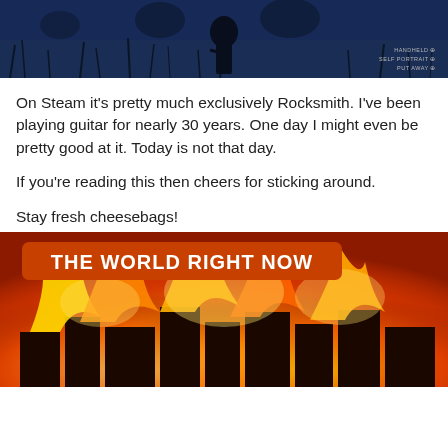[Figure (screenshot): Dark blue-toned video game screenshot (appears to be Red Dead Redemption 2) showing a character silhouette against a night sky with trees. HUD overlay text visible in upper right: HANDHELD, SELF PORTRAIT, PUT AWAY]
On Steam it's pretty much exclusively Rocksmith. I've been playing guitar for nearly 30 years. One day I might even be pretty good at it. Today is not that day.
If you're reading this then cheers for sticking around.
Stay fresh cheesebags!
[Figure (photo): Meme image showing a burning city with the caption 'THE WORLD RIGHT NOW' in a red rounded rectangle banner at the top. The scene shows buildings engulfed in large yellow and orange flames.]